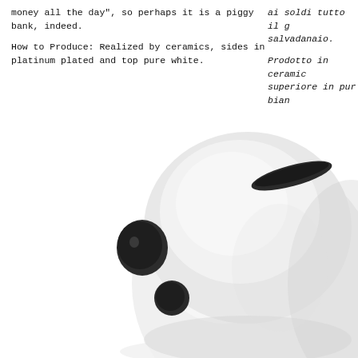money all the day", so perhaps it is a piggy bank, indeed.

How to Produce: Realized by ceramics, sides in platinum plated and top pure white.
ai soldi tutto il g... salvadanaio.

Prodotto in ceramic... superiore in pur bian...
[Figure (photo): Close-up photo of a white ceramic piggy bank shaped like a rounded ghost/blob figure with dark circular eyes and a coin slot on top, photographed against a white background.]